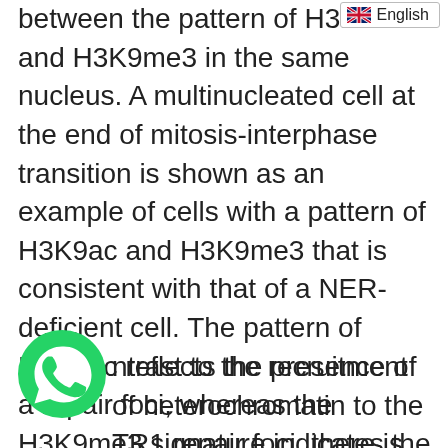between the pattern of H3K9ac and H3K9me3 in the same nucleus. A multinucleated cell at the end of mitosis-interphase transition is shown as an example of cells with a pattern of H3K9ac and H3K9me3 that is consistent with that of a NER-deficient cell. The pattern of H3K9ac reflects the presence of a repair foci, whereas the H3K9me3 signature indicates the heterochromatin still present in late prophase and early interphase.] (cercorbhp135f09_4c){#fig9}
[Figure (logo): WhatsApp green phone logo icon]
ntrast to the recruitment of heterochromatin to the TR1 repair foci, there is no clear contribution of heterochromatin